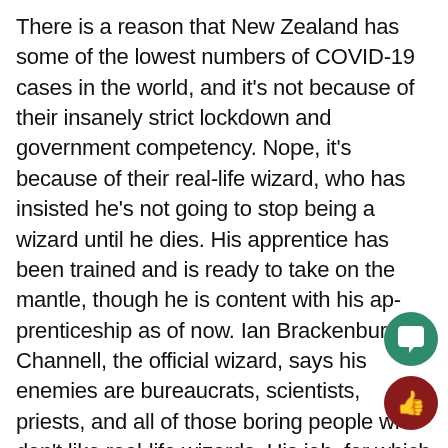There is a reason that New Zealand has some of the lowest numbers of COVID-19 cases in the world, and it's not because of their insanely strict lockdown and government competency. Nope, it's because of their real-life wizard, who has insisted he's not going to stop being a wizard until he dies. His apprentice has been trained and is ready to take on the mantle, though he is content with his ap- prenticeship as of now. Ian Brackenbury Channell, the official wizard, says his enemies are bureaucrats, scientists, priests, and all of those boring people who don't like real-life wizards. His job, for which he gets paid around $10,000 per year, is to drive up tourism in New Zealand, and, amazingly, it works! He's said this is getting harder since wizards aren't as cool anymore, but he does his best and hopes his apprentice can do even better.